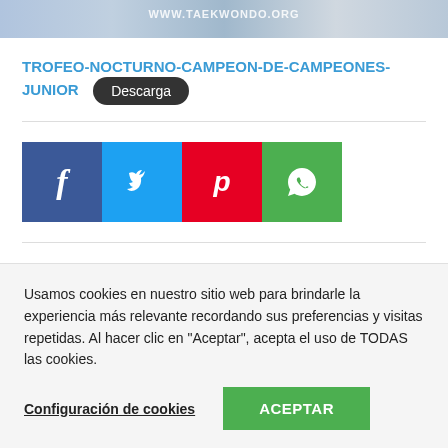[Figure (photo): Banner image showing a taekwondo event with URL www.taekwondo.org and logos]
TROFEO-NOCTURNO-CAMPEON-DE-CAMPEONES-JUNIOR
Descarga
[Figure (infographic): Social sharing buttons: Facebook (f), Twitter (bird), Pinterest (p), WhatsApp (phone)]
Usamos cookies en nuestro sitio web para brindarle la experiencia más relevante recordando sus preferencias y visitas repetidas. Al hacer clic en "Aceptar", acepta el uso de TODAS las cookies.
Configuración de cookies
ACEPTAR